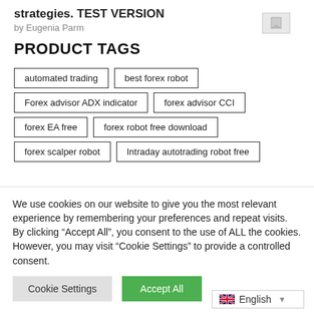strategies. TEST VERSION
by Eugenia Parm
PRODUCT TAGS
automated trading
best forex robot
Forex advisor ADX indicator
forex advisor CCI
forex EA free
forex robot free download
forex scalper robot
Intraday autotrading robot free
We use cookies on our website to give you the most relevant experience by remembering your preferences and repeat visits. By clicking “Accept All”, you consent to the use of ALL the cookies. However, you may visit "Cookie Settings" to provide a controlled consent.
Cookie Settings | Accept All
English